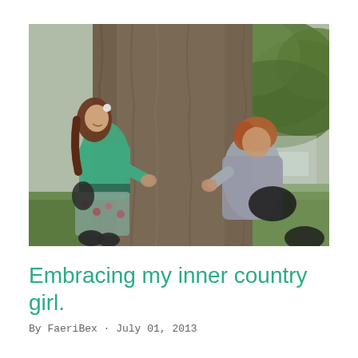[Figure (photo): Two women hugging a large tree trunk outdoors. The woman on the left wears a teal/turquoise jacket and a floral skirt. The woman on the right has red/auburn hair and wears a grey jacket. Green leafy trees and grass are visible in the background.]
Embracing my inner country girl.
By FaeriBex · July 01, 2013